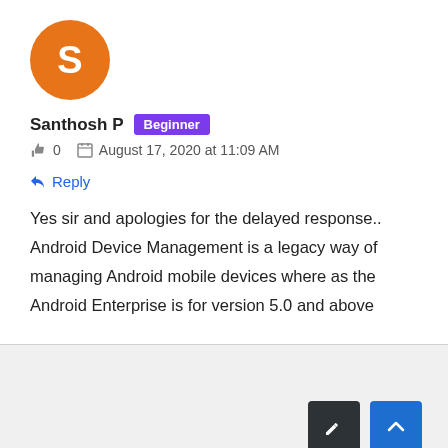[Figure (illustration): Orange circle avatar with white letter S]
Santhosh P  Beginner
0  August 17, 2020 at 11:09 AM
Reply
Yes sir and apologies for the delayed response.. Android Device Management is a legacy way of managing Android mobile devices where as the Android Enterprise is for version 5.0 and above